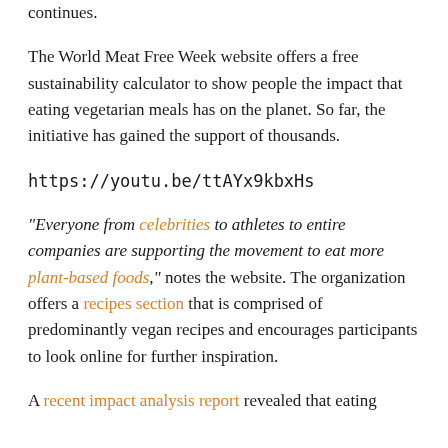continues.
The World Meat Free Week website offers a free sustainability calculator to show people the impact that eating vegetarian meals has on the planet. So far, the initiative has gained the support of thousands.
https://youtu.be/ttAYx9kbxHs
“Everyone from celebrities to athletes to entire companies are supporting the movement to eat more plant-based foods,” notes the website. The organization offers a recipes section that is comprised of predominantly vegan recipes and encourages participants to look online for further inspiration.
A recent impact analysis report revealed that eating